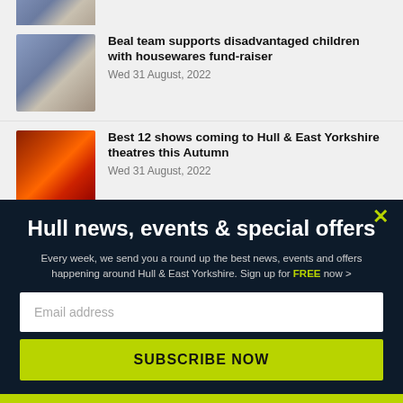[Figure (photo): Partial thumbnail of an article image, cut off at top]
Beal team supports disadvantaged children with housewares fund-raiser
Wed 31 August, 2022
[Figure (photo): Theatre stage with red/orange dramatic lighting and performers]
Best 12 shows coming to Hull & East Yorkshire theatres this Autumn
Wed 31 August, 2022
Hull news, events & special offers
Every week, we send you a round up the best news, events and offers happening around Hull & East Yorkshire. Sign up for FREE now >
Email address
SUBSCRIBE NOW